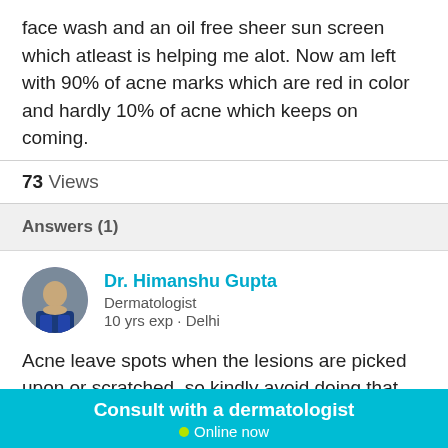face wash and an oil free sheer sun screen which atleast is helping me alot. Now am left with 90% of acne marks which are red in color and hardly 10% of acne which keeps on coming.
73 Views
Answers (1)
Dr. Himanshu Gupta
Dermatologist
10 yrs exp · Delhi
Acne leave spots when the lesions are picked upon or scratched, so kindly avoid doing that. Do not use hair oil over your scalp. Continue use of sunscreen and kindly
Consult with a dermatologist
Online now